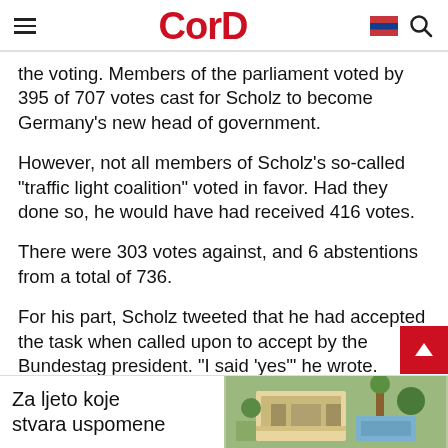CorD
the voting. Members of the parliament voted by 395 of 707 votes cast for Scholz to become Germany's new head of government.
However, not all members of Scholz's so-called "traffic light coalition" voted in favor. Had they done so, he would have had received 416 votes.
There were 303 votes against, and 6 abstentions from a total of 736.
For his part, Scholz tweeted that he had accepted the task when called upon to accept by the Bundestag president. "I said 'yes'" he wrote.
[Figure (photo): Advertisement banner at the bottom with text 'Za ljeto koje stvara uspomene' and a photo of a house/villa with pool area.]